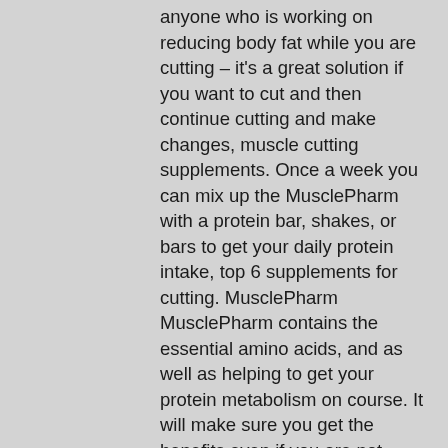anyone who is working on reducing body fat while you are cutting – it's a great solution if you want to cut and then continue cutting and make changes, muscle cutting supplements. Once a week you can mix up the MusclePharm with a protein bar, shakes, or bars to get your daily protein intake, top 6 supplements for cutting. MusclePharm MusclePharm contains the essential amino acids, and as well as helping to get your protein metabolism on course. It will make sure you get the benefits even if you are not gaining muscle, supplements you need for cutting.
Supplement – Example: NutriBullet NutriBullet NutriBullet is all about the nutrients and protein. With this supplement, you won't have to worry about where all these ingredients are coming from – they are all from real foods, so they are 100% natural, and they are used for cutting. This...